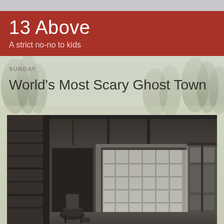13 Above
A strict no-no to kids
SUNDAY
World's Most Scary Ghost Town
[Figure (photo): Black and white photograph of the interior of an abandoned log cabin or ghost town building, showing wooden walls, large multi-pane windows, a door, and an old worn chair on the floor.]